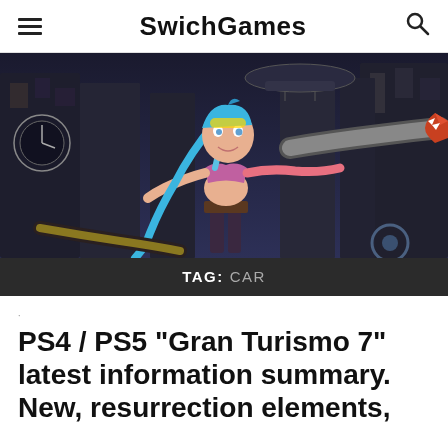SwichGames
[Figure (illustration): Animated character with blue hair holding a large mechanical weapon, set against a dark dystopian cityscape background]
TAG: CAR
PS4 / PS5 “Gran Turismo 7” latest information summary. New, resurrection elements,